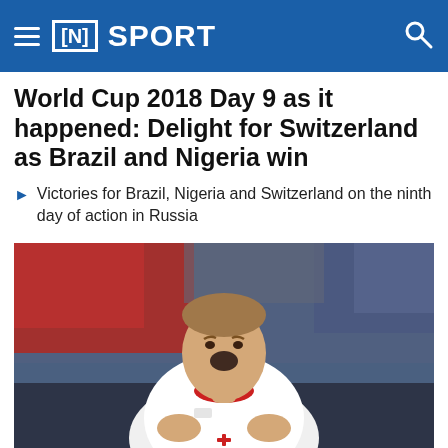≡ [N] SPORT
World Cup 2018 Day 9 as it happened: Delight for Switzerland as Brazil and Nigeria win
Victories for Brazil, Nigeria and Switzerland on the ninth day of action in Russia
[Figure (photo): A Switzerland player in white jersey celebrating a goal with mouth open and hands on chest, crowd visible in background]